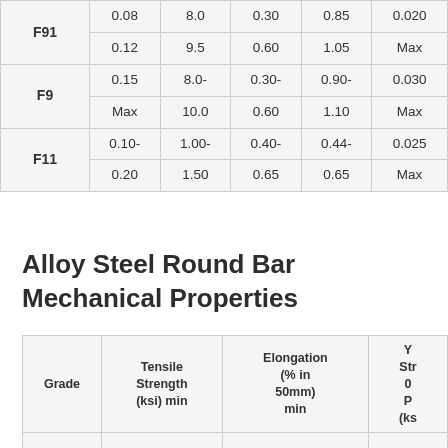| Grade | C | Cr | Mo | Mn | P |
| --- | --- | --- | --- | --- | --- |
| F91 | 0.08
0.12 | 8.0
9.5 | 0.30
0.60 | 0.85
1.05 | 0.020
Max |
| F9 | 0.15
Max | 8.0-
10.0 | 0.30-
0.60 | 0.90-
1.10 | 0.030
Max |
| F11 | 0.10-
0.20 | 1.00-
1.50 | 0.40-
0.65 | 0.44-
0.65 | 0.025
Max |
Alloy Steel Round Bar Mechanical Properties
| Grade | Tensile Strength (ksi) min | Elongation (% in 50mm) min | Yield Strength 0.2% Proof (ksi) min |
| --- | --- | --- | --- |